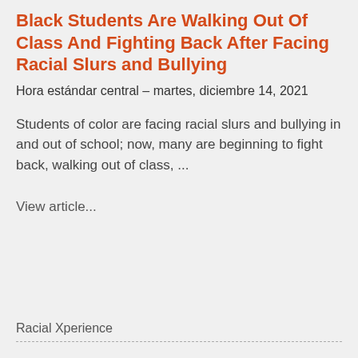Black Students Are Walking Out Of Class And Fighting Back After Facing Racial Slurs and Bullying
Hora estándar central – martes, diciembre 14, 2021
Students of color are facing racial slurs and bullying in and out of school; now, many are beginning to fight back, walking out of class, ...
View article...
Racial Xperience